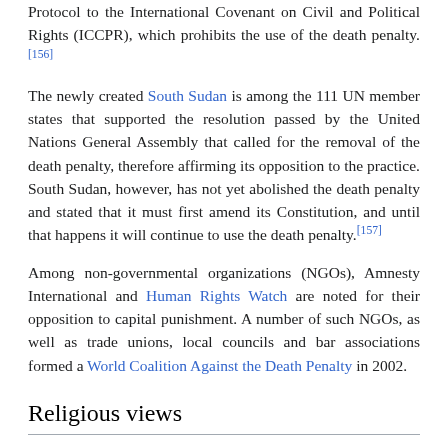Protocol to the International Covenant on Civil and Political Rights (ICCPR), which prohibits the use of the death penalty.[156]
The newly created South Sudan is among the 111 UN member states that supported the resolution passed by the United Nations General Assembly that called for the removal of the death penalty, therefore affirming its opposition to the practice. South Sudan, however, has not yet abolished the death penalty and stated that it must first amend its Constitution, and until that happens it will continue to use the death penalty.[157]
Among non-governmental organizations (NGOs), Amnesty International and Human Rights Watch are noted for their opposition to capital punishment. A number of such NGOs, as well as trade unions, local councils and bar associations formed a World Coalition Against the Death Penalty in 2002.
Religious views
Main article: Religion and capital punishment
The world's major religions have mixed opinions on the death penalty, depending on the context, the individual beliefs, and the ti...